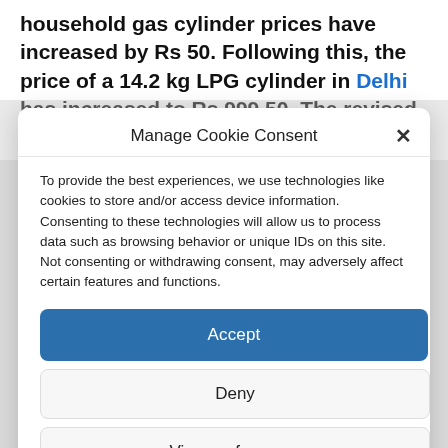household gas cylinder prices have increased by Rs 50. Following this, the price of a 14.2 kg LPG cylinder in Delhi has increased to Rs 999.50. The revised tariffs are in effect as of
Manage Cookie Consent
To provide the best experiences, we use technologies like cookies to store and/or access device information. Consenting to these technologies will allow us to process data such as browsing behavior or unique IDs on this site. Not consenting or withdrawing consent, may adversely affect certain features and functions.
Accept
Deny
View preferences
Privacy Policy